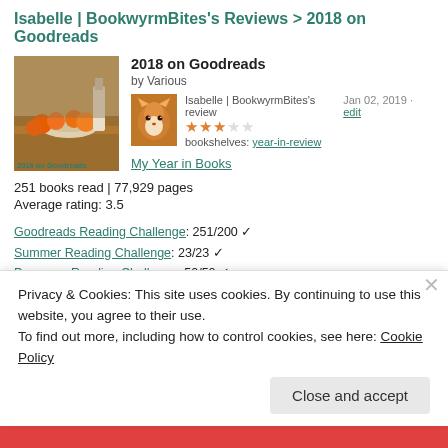Isabelle | BookwyrmBites's Reviews > 2018 on Goodreads
2018 on Goodreads
by Various
Isabelle | BookwyrmBites's review   Jan 02, 2019 · edit
★★★☆☆
bookshelves: year-in-review
My Year in Books
251 books read | 77,929 pages
Average rating: 3.5
Goodreads Reading Challenge: 251/200 ✓
Summer Reading Challenge: 23/23 ✓
Popsugar Reading Challenge: 50/50 ✓
5 Star Reads:
[Figure (illustration): Row of 8 book covers for 5-star reads]
Privacy & Cookies: This site uses cookies. By continuing to use this website, you agree to their use.
To find out more, including how to control cookies, see here: Cookie Policy
Close and accept